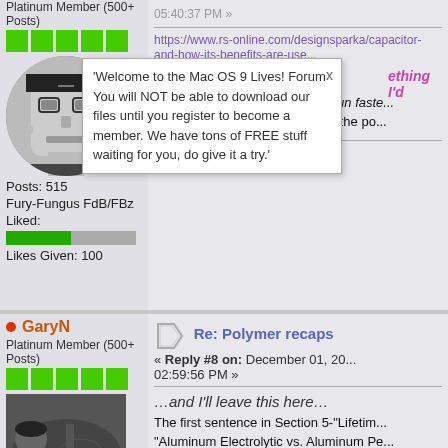Platinum Member (500+ Posts)
[Figure (illustration): Green star rating squares row]
[Figure (photo): Black and white circular avatar of a Frankenstein-like character]
Posts: 515
Fury-Fungus FdB/FBz
Liked:
[Figure (infographic): Green and grey liked progress bar]
Likes Given: 100
'Welcome to the Mac OS 9 Lives! Forum You will NOT be able to download our files until you register to become a member. We have tons of FREE stuff waiting for you, do give it a try.'
https://www.rs-online.com/designspark/capacitor-and-how-its-benefits-are-use...
Might not make your machine "run faste... but ya might get 30 years out of the po...
GaryN
Platinum Member (500+ Posts)
[Figure (illustration): Green star rating squares row]
[Figure (photo): Black and white photo of a person playing guitar reclining]
Re: Polymer recaps
« Reply #8 on: December 01, 20... 02:59:56 PM »
…and I'll leave this here…
The first sentence in Section 5-"Lifetime... "Aluminum Electrolytic vs. Aluminum Pe... properly" IS:
"The lifetime of electrolytic capacitors it...